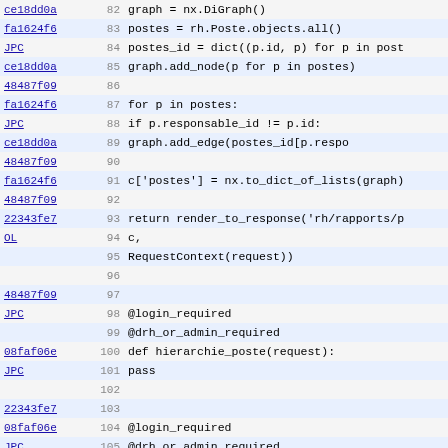[Figure (screenshot): Source code diff/blame view showing Python code lines 82-114 with commit hashes, line numbers, and code content including graph operations, login decorators, and function definitions.]